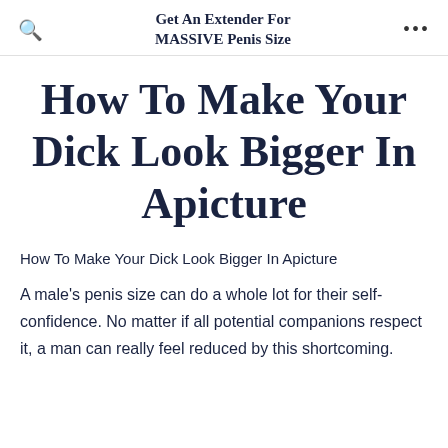Get An Extender For MASSIVE Penis Size
How To Make Your Dick Look Bigger In Apicture
How To Make Your Dick Look Bigger In Apicture
A male's penis size can do a whole lot for their self-confidence. No matter if all potential companions respect it, a man can really feel reduced by this shortcoming.